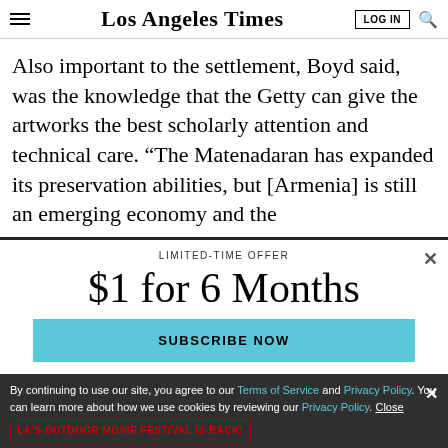Los Angeles Times
Also important to the settlement, Boyd said, was the knowledge that the Getty can give the artworks the best scholarly attention and technical care. “The Matenadaran has expanded its preservation abilities, but [Armenia] is still an emerging economy and the
LIMITED-TIME OFFER
$1 for 6 Months
SUBSCRIBE NOW
By continuing to use our site, you agree to our Terms of Service and Privacy Policy. You can learn more about how we use cookies by reviewing our Privacy Policy. Close
LA’S OUTDOOR MOVIE FESTIVAL IS BACK!